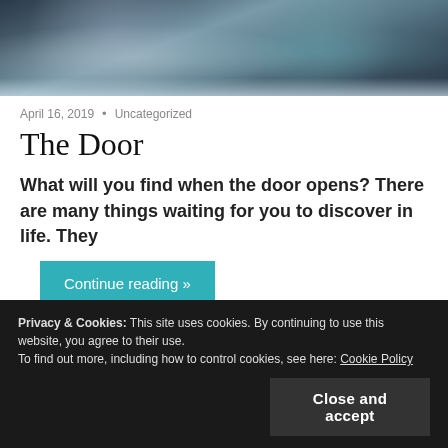[Figure (photo): Decorative dark blue-grey fantasy door or gate with ornate sculptural elements, chains, and circular motifs]
April 16, 2019  •  Uncategorized
The Door
What will you find when the door opens? There are many things waiting for you to discover in life. They
Continue reading »
Privacy & Cookies: This site uses cookies. By continuing to use this website, you agree to their use.
To find out more, including how to control cookies, see here: Cookie Policy
Close and accept
Like this: